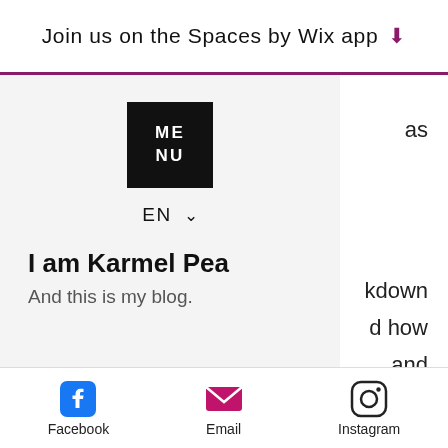Join us on the Spaces by Wix app ↓
[Figure (screenshot): Dropdown navigation menu panel with black square logo reading ME NU, language selector EN with chevron, site title 'I am Karmel Pea', and subtitle 'And this is my blog.']
maybe not even get into it.
Last week, on Thursday, I added an image to the instagram, which was accompanied by the very topical and hot slogan at the moment: "Tell me you're …………..., without telling me you're………... " so in my situation it's me tell me you're having a
Facebook   Email   Instagram